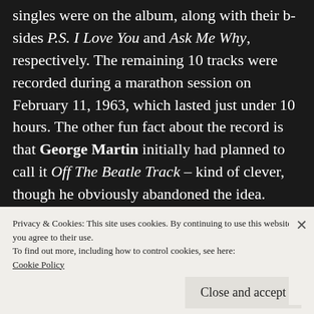singles were on the album, along with their b-sides P.S. I Love You and Ask Me Why, respectively. The remaining 10 tracks were recorded during a marathon session on February 11, 1963, which lasted just under 10 hours. The other fun fact about the record is that George Martin initially had planned to call it Off The Beatle Track – kind of clever, though he obviously abandoned the idea. Naming it after a successful single probably was also part
Privacy & Cookies: This site uses cookies. By continuing to use this website, you agree to their use.
To find out more, including how to control cookies, see here:
Cookie Policy
Close and accept